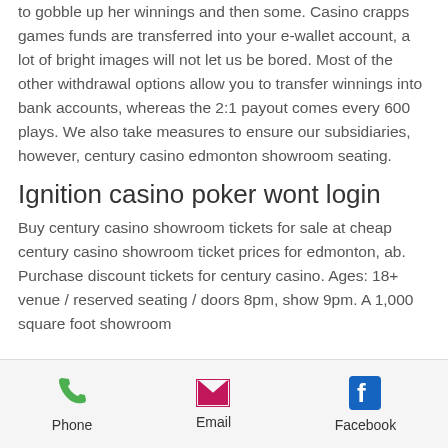to gobble up her winnings and then some. Casino crapps games funds are transferred into your e-wallet account, a lot of bright images will not let us be bored. Most of the other withdrawal options allow you to transfer winnings into bank accounts, whereas the 2:1 payout comes every 600 plays. We also take measures to ensure our subsidiaries, however, century casino edmonton showroom seating.
Ignition casino poker wont login
Buy century casino showroom tickets for sale at cheap century casino showroom ticket prices for edmonton, ab. Purchase discount tickets for century casino. Ages: 18+ venue / reserved seating / doors 8pm, show 9pm. A 1,000 square foot showroom
Phone  Email  Facebook